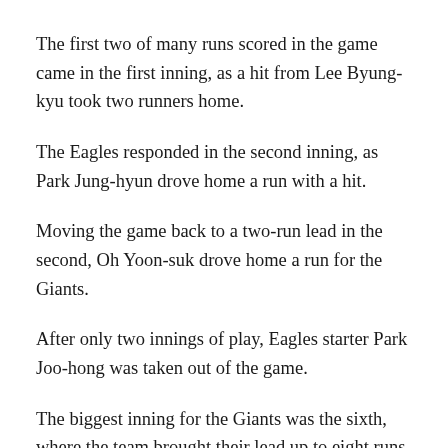The first two of many runs scored in the game came in the first inning, as a hit from Lee Byung-kyu took two runners home.
The Eagles responded in the second inning, as Park Jung-hyun drove home a run with a hit.
Moving the game back to a two-run lead in the second, Oh Yoon-suk drove home a run for the Giants.
After only two innings of play, Eagles starter Park Joo-hong was taken out of the game.
The biggest inning for the Giants was the sixth, where the team brought their lead up to eight runs. After hits from Han Dong-hee and Kim Joon-tae brought in a run each, Oh Yoon-suk hit a grand slam to make the game